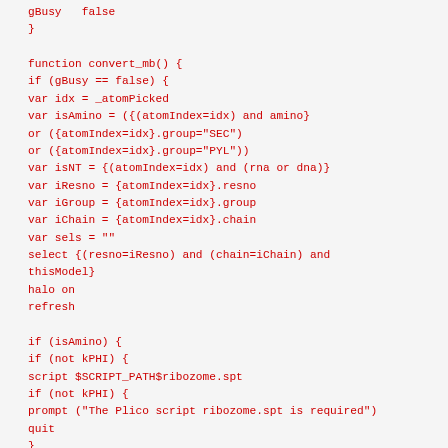gBusy   false
}

function convert_mb() {
if (gBusy == false) {
var idx = _atomPicked
var isAmino = ({(atomIndex=idx) and amino}
or ({atomIndex=idx}.group="SEC")
or ({atomIndex=idx}.group="PYL"))
var isNT = {(atomIndex=idx) and (rna or dna)}
var iResno = {atomIndex=idx}.resno
var iGroup = {atomIndex=idx}.group
var iChain = {atomIndex=idx}.chain
var sels = ""
select {(resno=iResno) and (chain=iChain) and
thisModel}
halo on
refresh

if (isAmino) {
if (not kPHI) {
script $SCRIPT_PATH$ribozome.spt
if (not kPHI) {
prompt ("The Plico script ribozome.spt is required")
quit
}
}